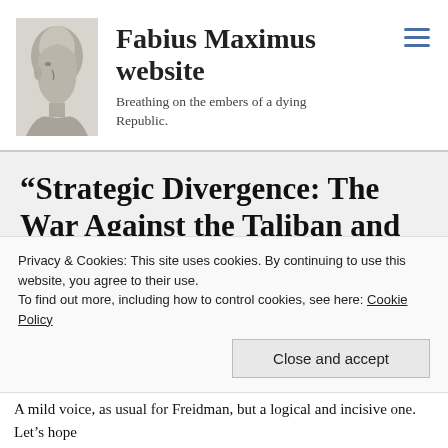Fabius Maximus website — Breathing on the embers of a dying Republic.
“Strategic Divergence: The War Against the Taliban and the War Against Al Qaeda” by George
Privacy & Cookies: This site uses cookies. By continuing to use this website, you agree to their use.
To find out more, including how to control cookies, see here: Cookie Policy
Close and accept
A mild voice, as usual for Freidman, but a logical and incisive one.  Let’s hope